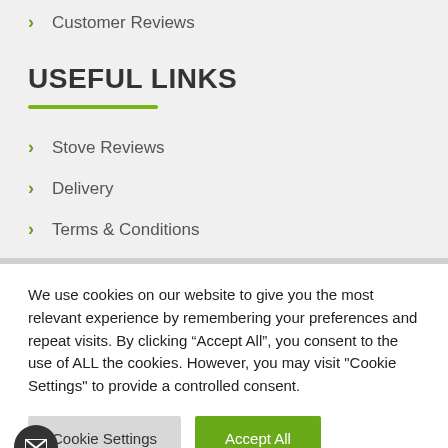Customer Reviews
USEFUL LINKS
Stove Reviews
Delivery
Terms & Conditions
We use cookies on our website to give you the most relevant experience by remembering your preferences and repeat visits. By clicking “Accept All”, you consent to the use of ALL the cookies. However, you may visit "Cookie Settings" to provide a controlled consent.